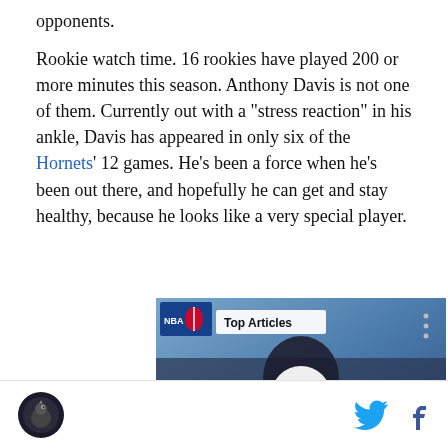opponents.
Rookie watch time. 16 rookies have played 200 or more minutes this season. Anthony Davis is not one of them. Currently out with a "stress reaction" in his ankle, Davis has appeared in only six of the Hornets' 12 games. He's been a force when he's been out there, and hopefully he can get and stay healthy, because he looks like a very special player.
[Figure (screenshot): Video player thumbnail showing an NBA player with a 'Top Articles' badge, play button in center, and arrow navigation button at bottom right.]
Logo icon and social media icons (Twitter, Facebook)